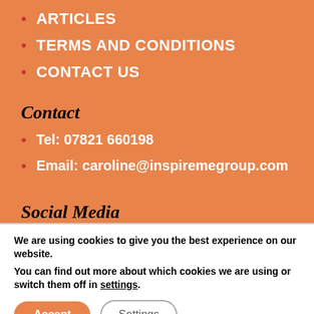ARTICLES
TERMS AND CONDITIONS
CONTACT US
Contact
Tel: 07821 660198
Email: caroline@inspiremegroup.com
Social Media
We are using cookies to give you the best experience on our website.
You can find out more about which cookies we are using or switch them off in settings.
Accept
Settings